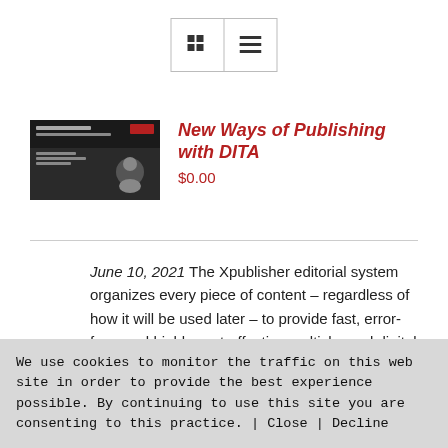[Figure (screenshot): Toolbar with grid view and list view icon buttons]
[Figure (photo): Thumbnail image for New Ways of Publishing with DITA webinar, dark background with presenter photo]
New Ways of Publishing with DITA
$0.00
June 10, 2021 The Xpublisher editorial system organizes every piece of content – regardless of how it will be used later – to provide fast, error-free, and highly cost-effective multichannel digital and print
We use cookies to monitor the traffic on this web site in order to provide the best experience possible. By continuing to use this site you are consenting to this practice. | Close | Decline